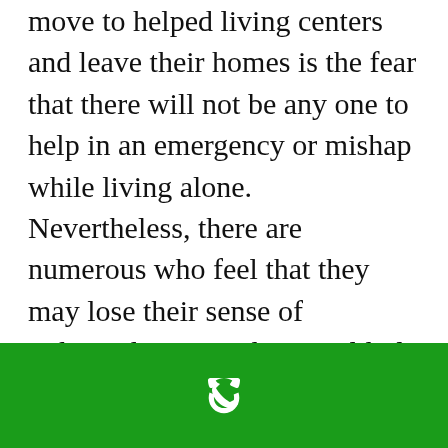move to helped living centers and leave their homes is the fear that there will not be any one to help in an emergency or mishap while living alone. Nevertheless, there are numerous who feel that they may lose their sense of independence inside a an elderly care center or retirement community. Using a medical alarm can effectively get rid of the primary reason for entering into an assisted living circumstance and allows elders to have their dignity and flexibility intact.
[Figure (illustration): Green footer bar with a white telephone handset icon centered within it]